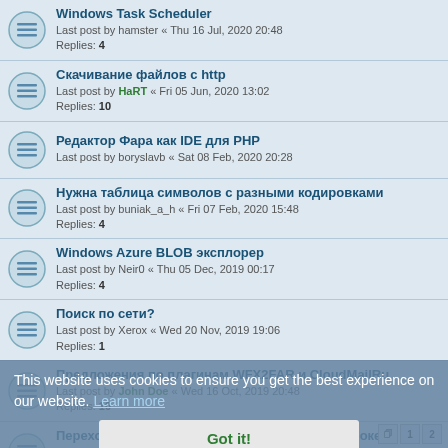Windows Task Scheduler
Last post by hamster « Thu 16 Jul, 2020 20:48
Replies: 4
Скачивание файлов с http
Last post by HaRT « Fri 05 Jun, 2020 13:02
Replies: 10
Редактор Фара как IDE для PHP
Last post by boryslavb « Sat 08 Feb, 2020 20:28
Нужна таблица символов с разными кодировками
Last post by buniak_a_h « Fri 07 Feb, 2020 15:48
Replies: 4
Windows Azure BLOB эксплорер
Last post by Neir0 « Thu 05 Dec, 2019 00:17
Replies: 4
Поиск по сети?
Last post by Xerox « Wed 20 Nov, 2019 19:06
Replies: 1
Предложения по плагинам WFX2FAR и CloudMailRu
Last post by John Doe « Wed 16 Oct, 2019 20:48
Replies: 10
Переход к папкам по нажатию на адресной строке
Last post by HaRT « Tue 01 Oct, 2019 20:18
Replies: 4
putty manager
Last post by NoXъ « Fri 26 Apr, 2019 09:12
Replies: 17
This website uses cookies to ensure you get the best experience on our website. Learn more
Got it!